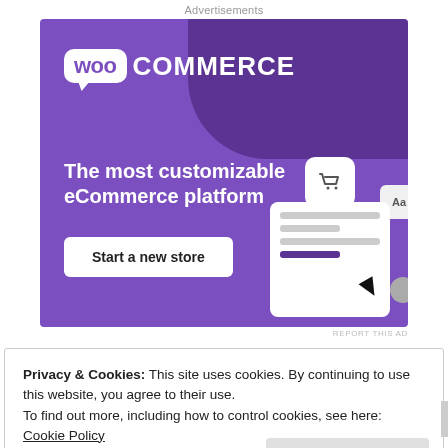Advertisements
[Figure (illustration): WooCommerce advertisement banner with purple background, WooCommerce logo, tagline 'The most customizable eCommerce platform', 'Start a new store' button, and eCommerce UI mockup graphic on the right side.]
REPORT THIS AD
Privacy & Cookies: This site uses cookies. By continuing to use this website, you agree to their use.
To find out more, including how to control cookies, see here:
Cookie Policy
Close and accept